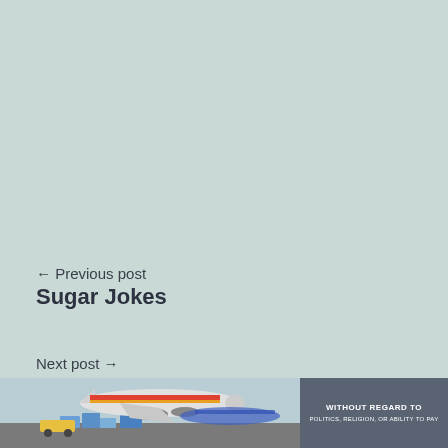← Previous post
Sugar Jokes
Next post →
Surfer Jokes
[Figure (photo): Advertisement banner showing an airplane being loaded with cargo, with a dark gray box reading 'WITHOUT REGARD TO POLITICS, RELIGION, OR ABILITY TO PAY']